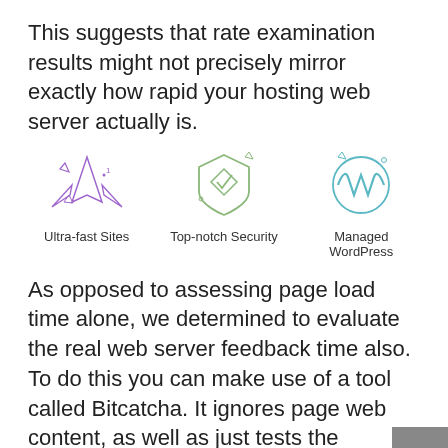This suggests that rate examination results might not precisely mirror exactly how rapid your hosting web server actually is.
[Figure (illustration): Three icons in a row: Ultra-fast Sites (purple jet/aircraft icon), Top-notch Security (teal shield with checkmark icon), Managed WordPress (teal WordPress logo icon)]
As opposed to assessing page load time alone, we determined to evaluate the real web server feedback time also. To do this you can make use of a tool called Bitcatcha. It ignores page web content, as well as just tests the feedback time of the server.